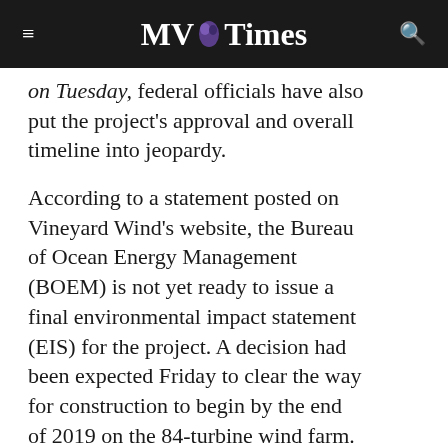MV Times
On Tuesday, federal officials have also put the project's approval and overall timeline into jeopardy.
According to a statement posted on Vineyard Wind's website, the Bureau of Ocean Energy Management (BOEM) is not yet ready to issue a final environmental impact statement (EIS) for the project. A decision had been expected Friday to clear the way for construction to begin by the end of 2019 on the 84-turbine wind farm.
“We understand that as the first commercial-scale offshore wind project in the U.S., the Vineyard Wind project will undergo extraordinary review before receiving approvals,” Vineyard Wind posted. “As with any project of this scale, we have determined that more